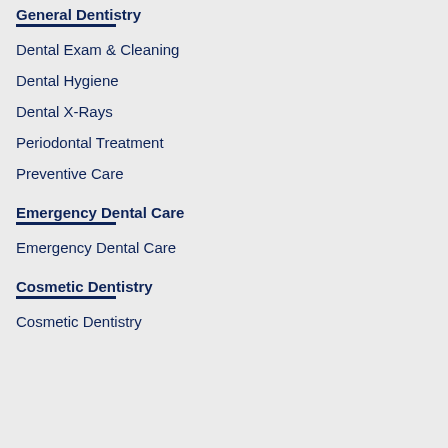General Dentistry
Dental Exam & Cleaning
Dental Hygiene
Dental X-Rays
Periodontal Treatment
Preventive Care
Emergency Dental Care
Emergency Dental Care
Cosmetic Dentistry
Cosmetic Dentistry